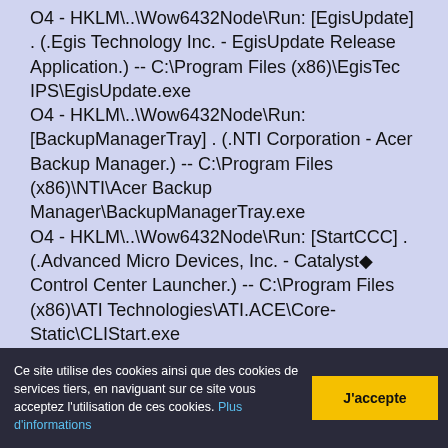O4 - HKLM\..\ Wow6432Node\Run: [EgisUpdate] . (.Egis Technology Inc. - EgisUpdate Release Application.) -- C:\Program Files (x86)\EgisTec IPS\EgisUpdate.exe O4 - HKLM\..\Wow6432Node\Run: [BackupManagerTray] . (.NTI Corporation - Acer Backup Manager.) -- C:\Program Files (x86)\NTI\Acer Backup Manager\BackupManagerTray.exe O4 - HKLM\..\Wow6432Node\Run: [StartCCC] . (.Advanced Micro Devices, Inc. - Catalyst◆ Control Center Launcher.) -- C:\Program Files (x86)\ATI Technologies\ATI.ACE\Core-Static\CLIStart.exe O4 - HKLM\..\Wow6432Node\Run: [NUSB3MON] . (.Renesas Electronics Corporation - USB 3.0 Monitor.) -- C:\Program Files (x86)\Renesas Electronics\USB 3.0 Host Controller Driver\Application\nusb3mon.exe O4 - HKLM\..\Wow6432Node\Run: [ArcadeMovieService] . (.CyberLink Corp. - clear.fi Movie Resident Program.) -- C:\Program Files (x86)\Acer\clear.fi\Movie\clear.fiMovieService.exe O4 - HKLM\..\Wow6432Node\Run: [APSDaemon] . (.Apple Inc.
Ce site utilise des cookies ainsi que des cookies de services tiers, en naviguant sur ce site vous acceptez l'utilisation de ces cookies. Plus d'informations